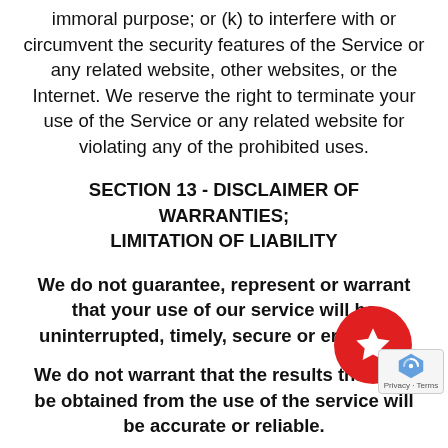immoral purpose; or (k) to interfere with or circumvent the security features of the Service or any related website, other websites, or the Internet. We reserve the right to terminate your use of the Service or any related website for violating any of the prohibited uses.
SECTION 13 - DISCLAIMER OF WARRANTIES; LIMITATION OF LIABILITY
We do not guarantee, represent or warrant that your use of our service will be uninterrupted, timely, secure or error-free.
We do not warrant that the results that may be obtained from the use of the service will be accurate or reliable.
You agree that from time to time we may remove service for indefinite periods of time or cancel the